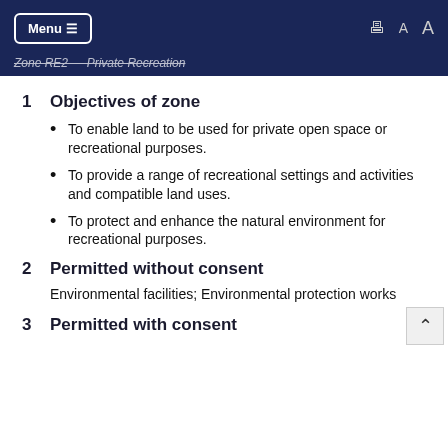Menu ☰  [print icon]  A  A
Zone RE2 — Private Recreation
1  Objectives of zone
To enable land to be used for private open space or recreational purposes.
To provide a range of recreational settings and activities and compatible land uses.
To protect and enhance the natural environment for recreational purposes.
2  Permitted without consent
Environmental facilities; Environmental protection works
3  Permitted with consent